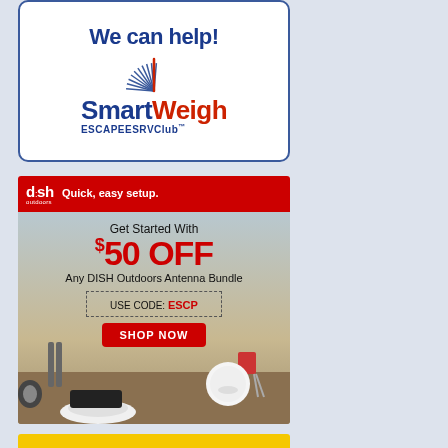[Figure (illustration): SmartWeigh Escapees RV Club advertisement showing 'We can help!' headline with a clock/needle graphic and the SmartWeigh logo and Escapees RV Club branding on a white background with blue border]
[Figure (illustration): DISH Outdoors advertisement with red header bar showing 'dish outdoors' logo and 'Quick, easy setup.' text. Body shows '$50 OFF Any DISH Outdoors Antenna Bundle', 'USE CODE: ESCP', 'SHOP NOW' button, and outdoor scene with DISH satellite equipment]
[Figure (illustration): Bottom of page showing yellow strip, partially cut off, indicating another advertisement below]